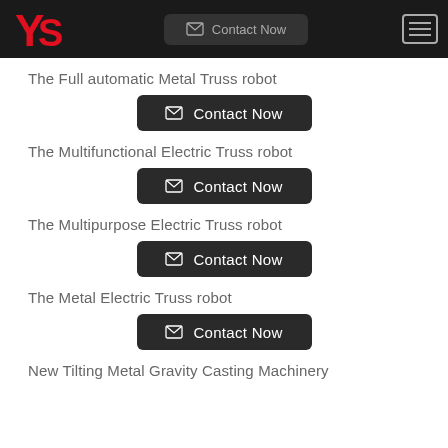Contact Now
The Full automatic Metal Truss robot
Contact Now
The Multifunctional Electric Truss robot
Contact Now
The Multipurpose Electric Truss robot
Contact Now
The Metal Electric Truss robot
Contact Now
New Tilting Metal Gravity Casting Machinery